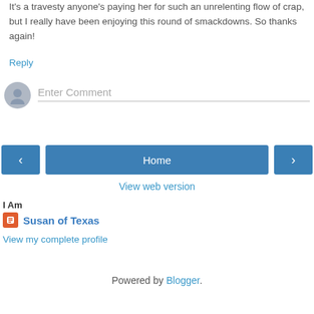wasn't the usual privileged, self-interested gilbertarian pap.
It's a travesty anyone's paying her for such an unrelenting flow of crap, but I really have been enjoying this round of smackdowns. So thanks again!
Reply
[Figure (other): Comment input field with user avatar placeholder]
[Figure (other): Navigation bar with left arrow, Home button, and right arrow]
View web version
I Am
Susan of Texas
View my complete profile
Powered by Blogger.